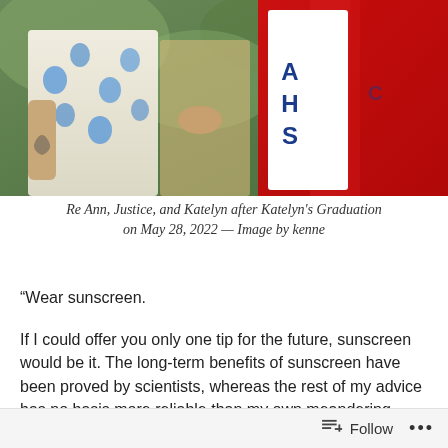[Figure (photo): A photograph showing three people — two women on the left side, one in a floral blue and white dress, and one wearing a red graduation gown with a white sash reading 'AHS', partially visible on the right.]
Re Ann, Justice, and Katelyn after Katelyn's Graduation on May 28, 2022 — Image by kenne
“Wear sunscreen.
If I could offer you only one tip for the future, sunscreen would be it. The long-term benefits of sunscreen have been proved by scientists, whereas the rest of my advice has no basis more reliable than my own meandering
Follow   •••